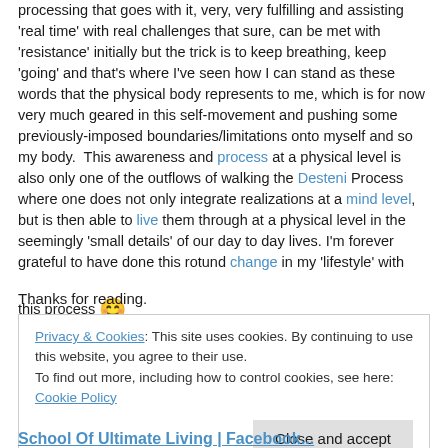processing that goes with it, very, very fulfilling and assisting 'real time' with real challenges that sure, can be met with 'resistance' initially but the trick is to keep breathing, keep 'going' and that's where I've seen how I can stand as these words that the physical body represents to me, which is for now very much geared in this self-movement and pushing some previously-imposed boundaries/limitations onto myself and so my body.  This awareness and process at a physical level is also only one of the outflows of walking the Desteni Process where one does not only integrate realizations at a mind level, but is then able to live them through at a physical level in the seemingly 'small details' of our day to day lives. I'm forever grateful to have done this rotund change in my 'lifestyle' with this process 😊
Thanks for reading.
Privacy & Cookies: This site uses cookies. By continuing to use this website, you agree to their use. To find out more, including how to control cookies, see here: Cookie Policy
Close and accept
School Of Ultimate Living | Facebook...